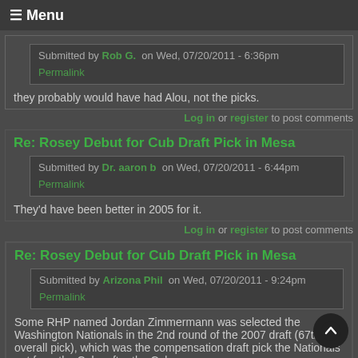≡ Menu
Submitted by Rob G. on Wed, 07/20/2011 - 6:36pm
Permalink
they probably would have had Alou, not the picks.
Log in or register to post comments
Re: Rosey Debut for Cub Draft Pick in Mesa
Submitted by Dr. aaron b on Wed, 07/20/2011 - 6:44pm
Permalink
They'd have been better in 2005 for it.
Log in or register to post comments
Re: Rosey Debut for Cub Draft Pick in Mesa
Submitted by Arizona Phil on Wed, 07/20/2011 - 9:24pm
Permalink
Some RHP named Jordan Zimmermann was selected the Washington Nationals in the 2nd round of the 2007 draft (67th overall pick), which was the compensation draft pick the Nationals got from the Cubs after the Cubs